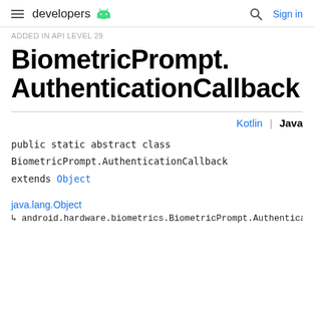developers | Kotlin | Java | Sign in
ADDED IN API LEVEL 29
BiometricPrompt.AuthenticationCallback
Kotlin | Java
public static abstract class BiometricPrompt.AuthenticationCallback extends Object
java.lang.Object
  ↳ android.hardware.biometrics.BiometricPrompt.AuthenticationC